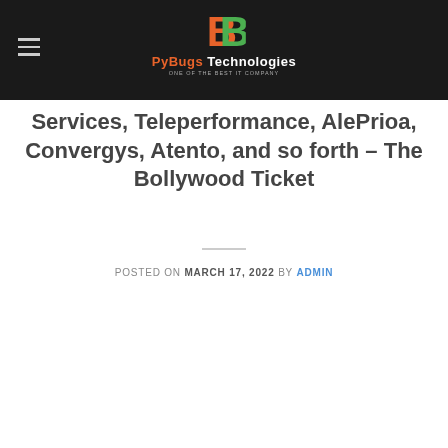[Figure (logo): PyBugs Technologies logo with stylized B icon in orange and green on dark background, with tagline]
Services, Teleperformance, AlePrioa, Convergys, Atento, and so forth – The Bollywood Ticket
POSTED ON MARCH 17, 2022 BY ADMIN